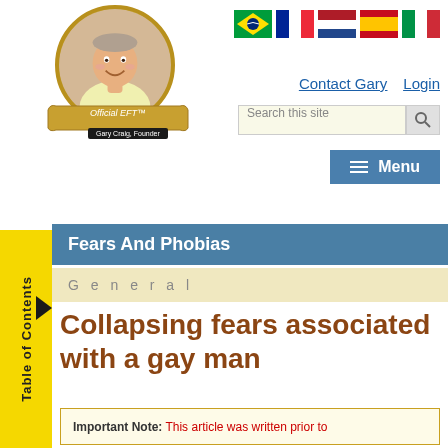[Figure (logo): Official EFT logo with Gary Craig founder photo in circular gold-bordered frame with scroll banner]
[Figure (illustration): Five country flag icons: Brazil, France, Netherlands, Spain, Italy]
Contact Gary   Login
Search this site
Menu
Fears And Phobias
G e n e r a l
Collapsing fears associated with a gay man
Important Note: This article was written prior to